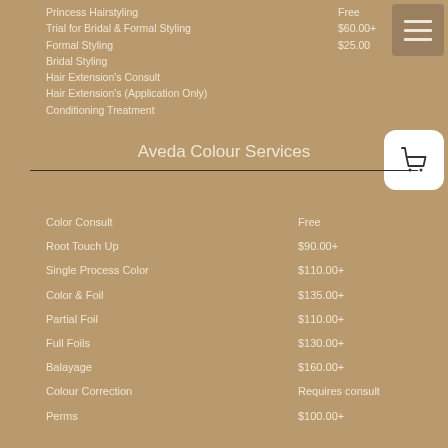Princess Hairstyling — Free
Trial for Bridal & Formal Styling — $60.00+
Formal Styling — $25.00
Bridal Styling
Hair Extension's Consult
Hair Extension's (Application Only)
Conditioning Treatment
Aveda Colour Services
Color Consult — Free
Root Touch Up — $90.00+
Single Process Color — $110.00+
Color & Foil — $135.00+
Partial Foil — $110.00+
Full Foils — $130.00+
Balayage — $160.00+
Colour Correction — Requires consult
Perms — $100.00+